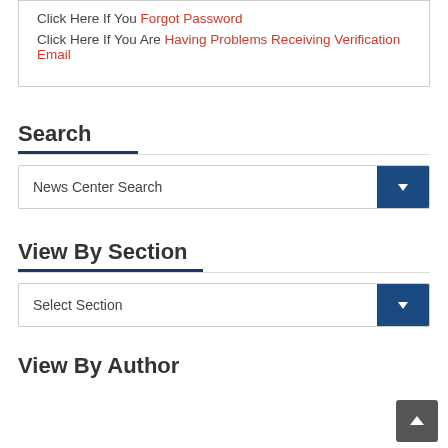Click Here If You Forgot Password
Click Here If You Are Having Problems Receiving Verification Email
Search
News Center Search
View By Section
Select Section
View By Author